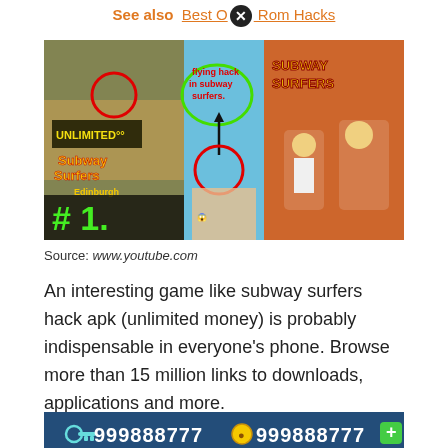See also  Best O× Rom Hacks
[Figure (screenshot): Composite screenshot of Subway Surfers game showing three panels: left panel with 'UNLIMITED°°' text overlay and game scene labeled '#1.', center panel showing 'flying hack in subway surfers.' with green circle annotation, right panel showing Subway Surfers title screen with character running]
Source: www.youtube.com
An interesting game like subway surfers hack apk (unlimited money) is probably indispensable in everyone's phone. Browse more than 15 million links to downloads, applications and more.
[Figure (screenshot): Subway Surfers hack interface showing '999888777' coins and keys with a close (×) button overlay]